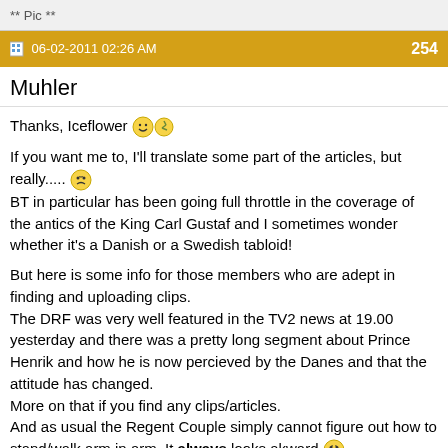** Pic **
06-02-2011 02:26 AM   254
Muhler
Thanks, Iceflower 🙂🌿

If you want me to, I'll translate some part of the articles, but really..... 😵
BT in particular has been going full throttle in the coverage of the antics of the King Carl Gustaf and I sometimes wonder whether it's a Danish or a Swedish tabloid!

But here is some info for those members who are adept in finding and uploading clips.
The DRF was very well featured in the TV2 news at 19.00 yesterday and there was a pretty long segment about Prince Henrik and how he is now percieved by the Danes and that the attitude has changed.
More on that if you find any clips/articles.
And as usual the Regent Couple simply cannot figure out how to stand/walk arm in arm. It always looks akward.😄
There was also a clip with Countess Alexandra, her Martin and two sons opening something about giraffes (I was distracted) in, was it Odense Zoo?